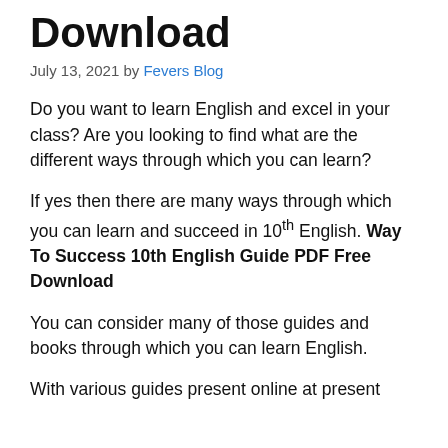Download
July 13, 2021 by Fevers Blog
Do you want to learn English and excel in your class? Are you looking to find what are the different ways through which you can learn?
If yes then there are many ways through which you can learn and succeed in 10th English. Way To Success 10th English Guide PDF Free Download
You can consider many of those guides and books through which you can learn English.
With various guides present online at present